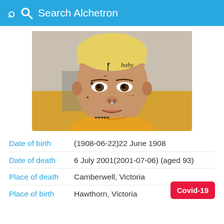Search Alchetron
[Figure (photo): Young man with face tattoos and blonde hair, wearing a yellow hoodie, smiling at camera]
Date of birth  (1908-06-22)22 June 1908
Date of death  6 July 2001(2001-07-06) (aged 93)
Place of death  Camberwell, Victoria
Place of birth  Hawthorn, Victoria
Covid-19